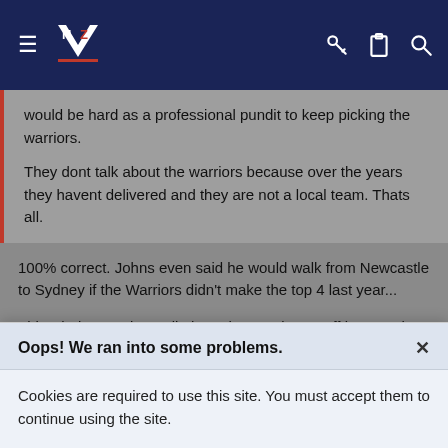NZ Warriors fan site navigation bar with logo, hamburger menu, key, clipboard, and search icons
would be hard as a professional pundit to keep picking the warriors.
They dont talk about the warriors because over the years they havent delivered and they are not a local team. Thats all.
100% correct. Johns even said he would walk from Newcastle to Sydney if the Warriors didn't make the top 4 last year...
This whole 'Aussie media hate the Warriors' stuff is crap, they are just sick of the team not living up to expectation (no different form most of us up until a month ago). I remember plenty on here use to think Gary Belcher hated the Warriors. I know for a fact that was completely untrue. Then it was Blocker - well from what I've heard from him this
Oops! We ran into some problems.
Cookies are required to use this site. You must accept them to continue using the site.